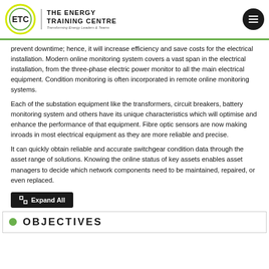ETC THE ENERGY TRAINING CENTRE — Transforming Energy Leaders & Teams
prevent downtime; hence, it will increase efficiency and save costs for the electrical installation. Modern online monitoring system covers a vast span in the electrical installation, from the three-phase electric power monitor to all the main electrical equipment. Condition monitoring is often incorporated in remote online monitoring systems.
Each of the substation equipment like the transformers, circuit breakers, battery monitoring system and others have its unique characteristics which will optimise and enhance the performance of that equipment. Fibre optic sensors are now making inroads in most electrical equipment as they are more reliable and precise.
It can quickly obtain reliable and accurate switchgear condition data through the asset range of solutions. Knowing the online status of key assets enables asset managers to decide which network components need to be maintained, repaired, or even replaced.
Expand All
OBJECTIVES